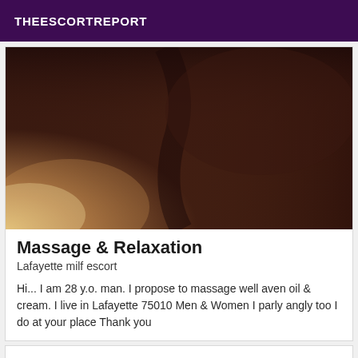THEESCORTREPORT
[Figure (photo): Close-up photo with dark brown tones, appears to show skin/body, with a bright light area on the lower left]
Massage & Relaxation
Lafayette milf escort
Hi... I am 28 y.o. man. I propose to massage well aven oil & cream. I live in Lafayette 75010 Men & Women I parly angly too I do at your place Thank you